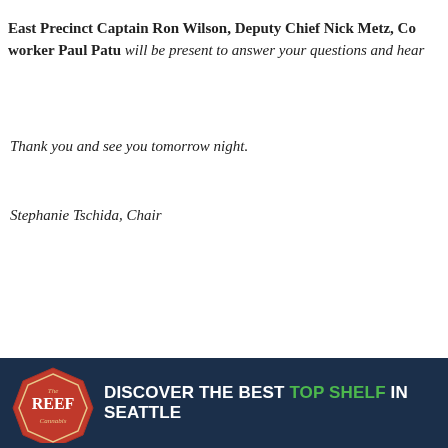East Precinct Captain Ron Wilson, Deputy Chief Nick Metz, Co… worker Paul Patu will be present to answer your questions and hear…
Thank you and see you tomorrow night.
Stephanie Tschida, Chair
This entry was posted in Page Two by Tom Fucoloro. Bookmark th…
[Figure (photo): Headshot of Tom Fucoloro, a young man with dark hair and beard, outdoors]
About Tom Fucoloro
As former editor of CDNews, Tom still helps out…
View all posts by Tom Fucoloro →
21 THOUGHTS ON "WEDNESDAY FORUM AT GARFIELD COMMUNITY CENT…"
[Figure (other): Comment bubble/arrow graphic]
[Figure (other): The Reef Cannabis advertisement banner: DISCOVER THE BEST TOP SHELF IN SEATTLE]